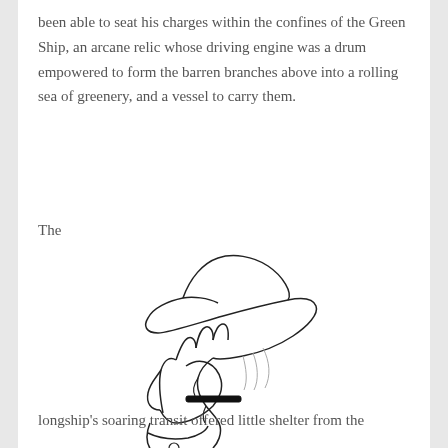been able to seat his charges within the confines of the Green Ship, an arcane relic whose driving engine was a drum empowered to form the barren branches above into a rolling sea of greenery, and a vessel to carry them.
The
[Figure (illustration): Line drawing illustration of a figure wearing a wide-brimmed hat, shown in profile looking left, with one hand raised holding a small object (possibly a cigarette or pen), wearing a coat with large lapels.]
longship's soaring transit offered little shelter from the